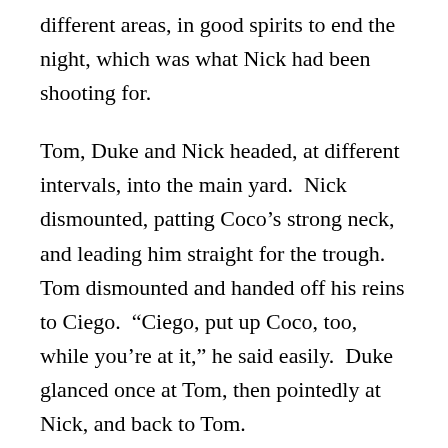different areas, in good spirits to end the night, which was what Nick had been shooting for.
Tom, Duke and Nick headed, at different intervals, into the main yard.  Nick dismounted, patting Coco’s strong neck, and leading him straight for the trough.  Tom dismounted and handed off his reins to Ciego.  “Ciego, put up Coco, too, while you’re at it,” he said easily.  Duke glanced once at Tom, then pointedly at Nick, and back to Tom.
Hissing out a breath in frustration, Tom nodded and headed toward the trough himself, unbuttoning his shirt sleeves.
The kitchen door swung open as Jarrod Barkley, Tom’s oldest son, stepped out into the yard, looking around